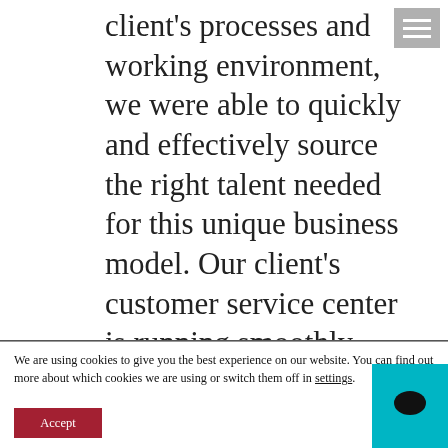client's processes and working environment, we were able to quickly and effectively source the right talent needed for this unique business model. Our client's customer service center is running smoothly with
[Figure (other): Hamburger menu button icon (three horizontal white lines on grey background)]
We are using cookies to give you the best experience on our website. You can find out more about which cookies we are using or switch them off in settings.
[Figure (other): Accept button (red/dark red button with white text 'Accept')]
[Figure (other): Chat widget button (teal/cyan square with speech bubble icon in black)]